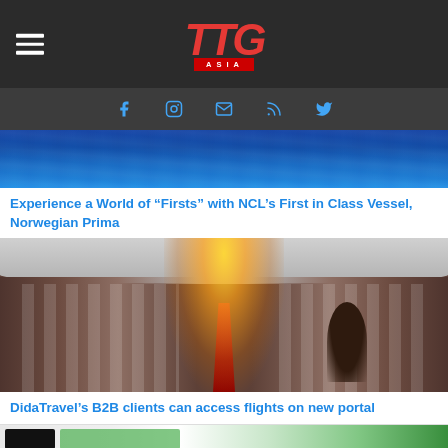TTG ASIA
[Figure (photo): Ocean water surface view from above, deep blue sea]
Experience a World of “Firsts” with NCL’s First in Class Vessel, Norwegian Prima
[Figure (photo): Interior of an airplane cabin with seats and aisle, bright sunlight glowing from the front of the plane]
DidaTravel’s B2B clients can access flights on new portal
[Figure (photo): Partial view of another article image at the bottom of the page]